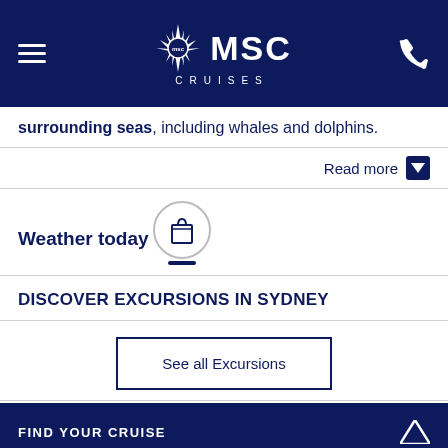MSC CRUISES
surrounding seas, including whales and dolphins.
Read more
Weather today
[Figure (illustration): Shopping bag icon inside a circular border with a horizontal base line beneath it]
DISCOVER EXCURSIONS IN SYDNEY
See all Excursions
FIND YOUR CRUISE